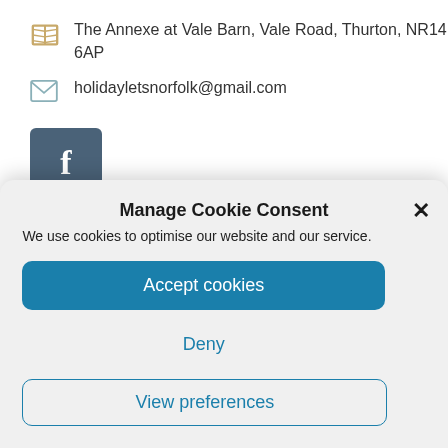The Annexe at Vale Barn, Vale Road, Thurton, NR14 6AP
holidayletsnorfolk@gmail.com
[Figure (logo): Facebook square button with 'f' logo in dark slate blue]
Manage Cookie Consent
We use cookies to optimise our website and our service.
Accept cookies
Deny
View preferences